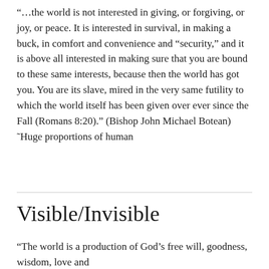“…the world is not interested in giving, or forgiving, or joy, or peace. It is interested in survival, in making a buck, in comfort and convenience and “security,” and it is above all interested in making sure that you are bound to these same interests, because then the world has got you. You are its slave, mired in the very same futility to which the world itself has been given over ever since the Fall (Romans 8:20).” (Bishop John Michael Botean) ˜Huge proportions of human
Visible/Invisible
“The world is a production of God’s free will, goodness, wisdom, love and